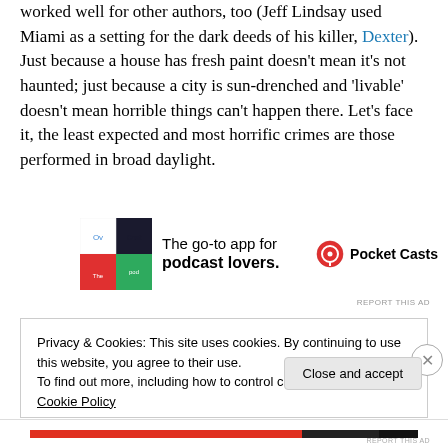worked well for other authors, too (Jeff Lindsay used Miami as a setting for the dark deeds of his killer, Dexter). Just because a house has fresh paint doesn't mean it's not haunted; just because a city is sun-drenched and 'livable' doesn't mean horrible things can't happen there. Let's face it, the least expected and most horrific crimes are those performed in broad daylight.
[Figure (illustration): Pocket Casts advertisement banner with colorful app icon logo on left, text 'The go-to app for podcast lovers.' in center, and Pocket Casts logo with name on right.]
REPORT THIS AD
Privacy & Cookies: This site uses cookies. By continuing to use this website, you agree to their use.
To find out more, including how to control cookies, see here: Cookie Policy
Close and accept